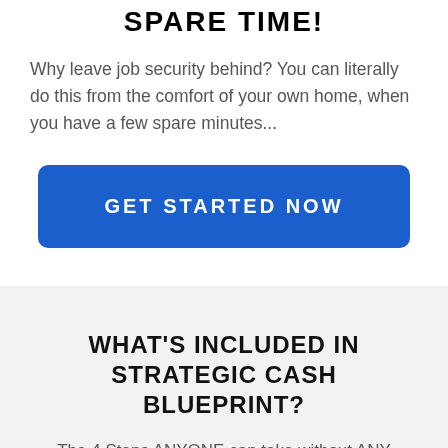SPARE TIME!
Why leave job security behind? You can literally do this from the comfort of your own home, when you have a few spare minutes...
GET STARTED NOW
WHAT'S INCLUDED IN STRATEGIC CASH BLUEPRINT?
The 4 Steps ANYONE can take without ANY